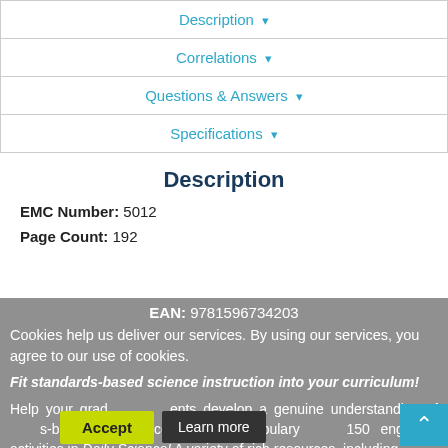| Description ▾ |
| Correlations ▾ |
| Questions & Answers ▾ |
| Specifications ▾ |
Description
EMC Number: 5012
Page Count: 192
EAN: 9781596734203
Cookies help us deliver our services. By using our services, you agree to our use of cookies.
Fit standards-based science instruction into your curriculum!
Help your grade 5 students develop a genuine understanding of standards-based scientific concepts and vocabulary through 150 engaging activities in Daily Science! A variety of rich resources, including